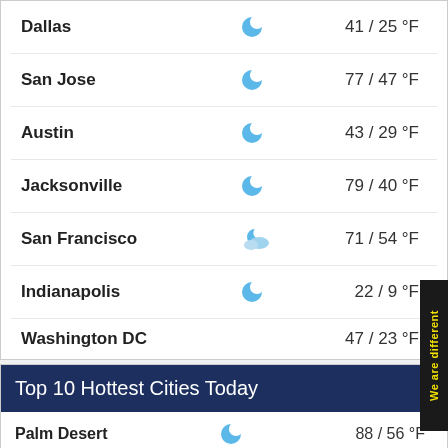Dallas   41 / 25 °F
San Jose   77 / 47 °F
Austin   43 / 29 °F
Jacksonville   79 / 40 °F
San Francisco   71 / 54 °F
Indianapolis   22 / 9 °F
Washington DC   47 / 23 °F
Top 10 Hottest Cities Today
Palm Desert   Near By Cities   88 / 56 °F
Colton   Near By Cities   88 / 55 °F
Indio   Near By Cities   88 / 56 °F